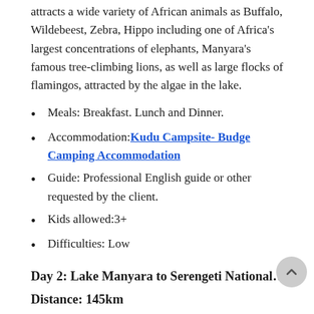attracts a wide variety of African animals as Buffalo, Wildebeest, Zebra, Hippo including one of Africa's largest concentrations of elephants, Manyara's famous tree-climbing lions, as well as large flocks of flamingos, attracted by the algae in the lake.
Meals: Breakfast. Lunch and Dinner.
Accommodation: Kudu Campsite- Budge Camping Accommodation
Guide: Professional English guide or other requested by the client.
Kids allowed:3+
Difficulties: Low
Day 2: Lake Manyara to Serengeti National Par…
Distance: 145km